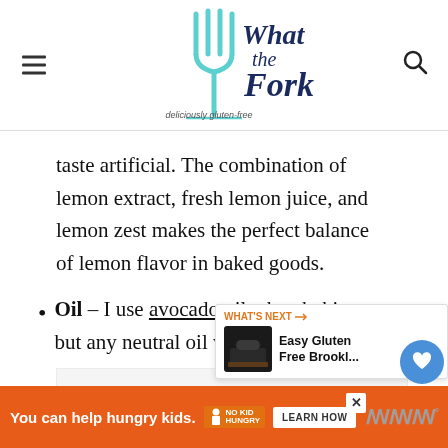What the Fork - deliciously gluten-free
taste artificial. The combination of lemon extract, fresh lemon juice, and lemon zest makes the perfect balance of lemon flavor in baked goods.
Oil – I use avocado oil when baking but any neutral oil will be fine.
[Figure (other): What's Next widget showing Easy Gluten Free Brookl... with a cake image]
[Figure (other): Advertisement banner: You can help hungry kids. No Kid Hungry. LEARN HOW]